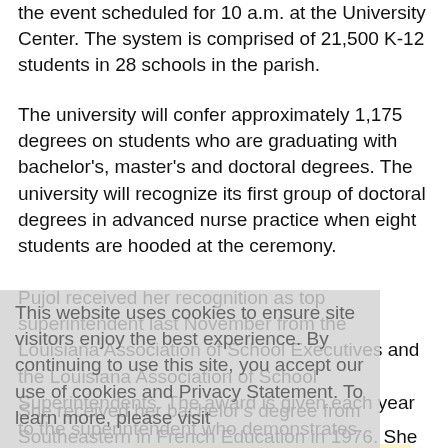the event scheduled for 10 a.m. at the University Center. The system is comprised of 21,500 K-12 students in 28 schools in the parish.
The university will confer approximately 1,175 degrees on students who are graduating with bachelor's, master's and doctoral degrees. The university will recognize its first group of doctoral degrees in advanced nurse practice when eight students are hooded at the ceremony.
Pujol received her recognition as top superintendent last November from the Louisiana Association of School Executives and the Louisiana Association of School Superintendents. The award is given each year to the superintendent who demonstrates excellence in education, leadership and district school performance.
She received her bachelor's degree from Southeastern in French Education in 1976. She later earned a